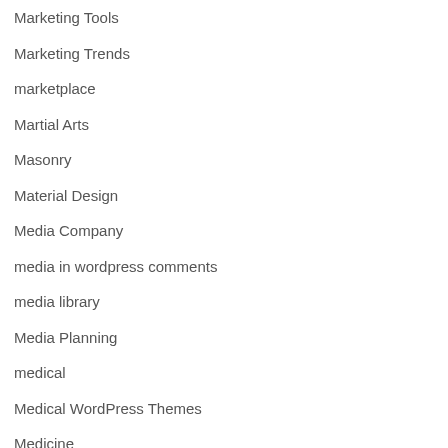Marketing Tools
Marketing Trends
marketplace
Martial Arts
Masonry
Material Design
Media Company
media in wordpress comments
media library
Media Planning
medical
Medical WordPress Themes
Medicine